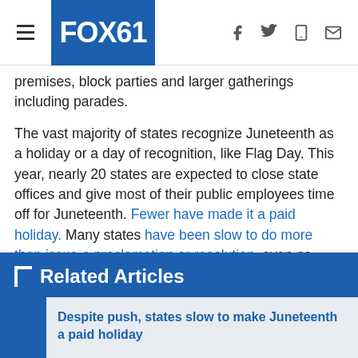FOX61
premises, block parties and larger gatherings including parades.
The vast majority of states recognize Juneteenth as a holiday or a day of recognition, like Flag Day. This year, nearly 20 states are expected to close state offices and give most of their public employees time off for Juneteenth. Fewer have made it a paid holiday. Many states have been slow to do more than issue a proclamation or resolution, even as some continue to commemorate the Confederacy.
The Associated Press contributed to this report.
Related Articles
Despite push, states slow to make Juneteenth a paid holiday